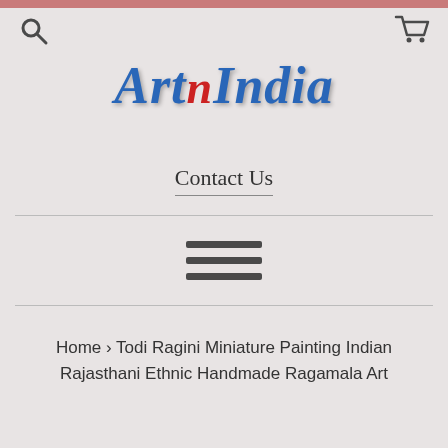[Figure (logo): ArtNIndia logo with stylized blue italic serif font and red lowercase 'n']
Contact Us
[Figure (infographic): Hamburger menu icon with three horizontal lines]
Home › Todi Ragini Miniature Painting Indian Rajasthani Ethnic Handmade Ragamala Art